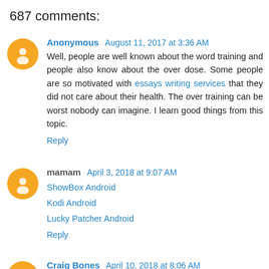687 comments:
Anonymous August 11, 2017 at 3:36 AM
Well, people are well known about the word training and people also know about the over dose. Some people are so motivated with essays writing services that they did not care about their health. The over training can be worst nobody can imagine. I learn good things from this topic.
Reply
mamam April 3, 2018 at 9:07 AM
ShowBox Android
Kodi Android
Lucky Patcher Android
Reply
Craig Bones April 10, 2018 at 8:06 AM